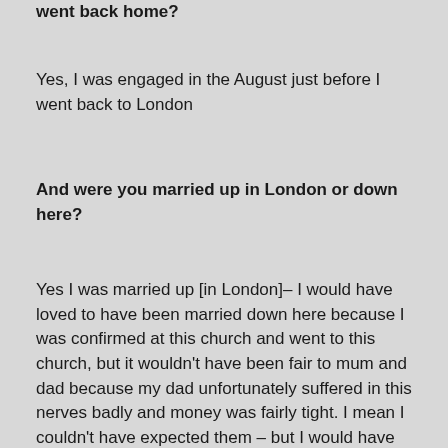went back home?
Yes, I was engaged in the August just before I went back to London
And were you married up in London or down here?
Yes I was married up [in London]– I would have loved to have been married down here because I was confirmed at this church and went to this church, but it wouldn't have been fair to mum and dad because my dad unfortunately suffered in this nerves badly and money was fairly tight. I mean I couldn't have expected them – but I would have loved to have been married down here